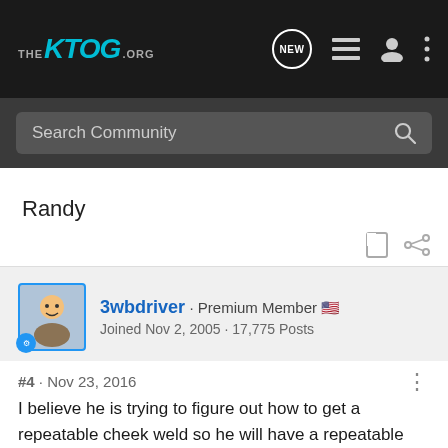THE KTOG.ORG
Search Community
Randy
3wbdriver · Premium Member
Joined Nov 2, 2005 · 17,775 Posts
#4 · Nov 23, 2016
I believe he is trying to figure out how to get a repeatable cheek weld so he will have a repeatable sight picture Randy.